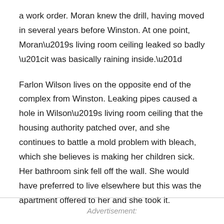a work order. Moran knew the drill, having moved in several years before Winston. At one point, Moran’s living room ceiling leaked so badly “it was basically raining inside.”
Farlon Wilson lives on the opposite end of the complex from Winston. Leaking pipes caused a hole in Wilson’s living room ceiling that the housing authority patched over, and she continues to battle a mold problem with bleach, which she believes is making her children sick. Her bathroom sink fell off the wall. She would have preferred to live elsewhere but this was the apartment offered to her and she took it.
Advertisement: